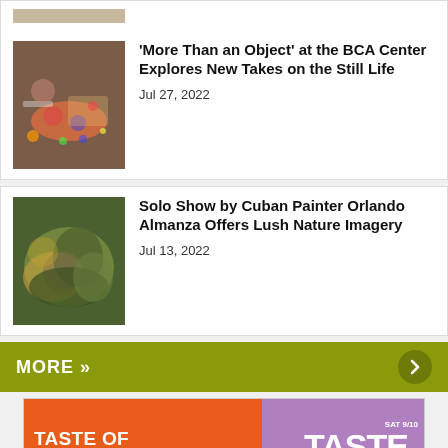[Figure (photo): Top partial card with image thumbnail cut off at top]
[Figure (photo): Overhead photo of people at a table with colorful cereal/sprinkles spilling from a bowl, for the 'More Than an Object' article]
'More Than an Object' at the BCA Center Explores New Takes on the Still Life
Jul 27, 2022
[Figure (photo): Abstract painting with lush green and gold nature imagery by Cuban painter Orlando Almanza]
Solo Show by Cuban Painter Orlando Almanza Offers Lush Nature Imagery
Jul 13, 2022
MORE »
[Figure (infographic): Advertisement for Taste of Montpelier Food Festival presented by Hunger Mountain Co-op, Friday September 9 – Sunday September 11, SAT 9/10 The Great TASTE A Showcase of Montpelier Restaurants, LEARN MORE]